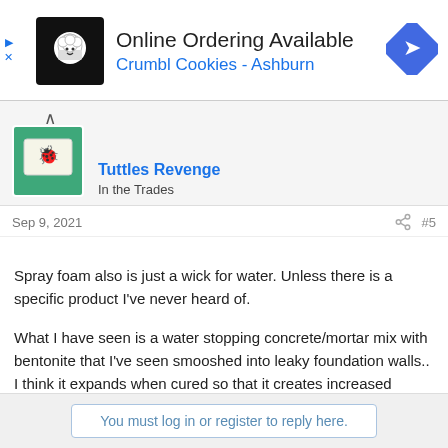[Figure (other): Advertisement banner for Crumbl Cookies - Ashburn with logo, text 'Online Ordering Available', and navigation arrow icon]
Tuttles Revenge
In the Trades
Sep 9, 2021  #5
Spray foam also is just a wick for water. Unless there is a specific product I've never heard of.

What I have seen is a water stopping concrete/mortar mix with bentonite that I've seen smooshed into leaky foundation walls.. I think it expands when cured so that it creates increased pressure against the surface its applied into. Of course that is just putting your finger in one hole of the dike while the water fills up and finds the next hole behind.
You must log in or register to reply here.